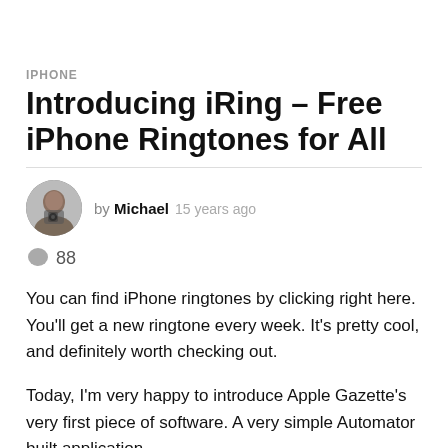IPHONE
Introducing iRing – Free iPhone Ringtones for All
by Michael  15 years ago
💬 88
You can find iPhone ringtones by clicking right here. You'll get a new ringtone every week. It's pretty cool, and definitely worth checking out.
Today, I'm very happy to introduce Apple Gazette's very first piece of software. A very simple Automator built application